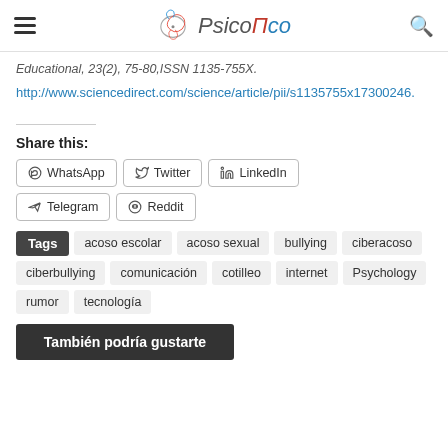PsicoPico
Educational, 23(2), 75-80,ISSN 1135-755X.
http://www.sciencedirect.com/science/article/pii/s1135755x17300246.
Share this:
WhatsApp
Twitter
LinkedIn
Telegram
Reddit
Tags  acoso escolar  acoso sexual  bullying  ciberacoso  ciberbullying  comunicación  cotilleo  internet  Psychology  rumor  tecnología
También podría gustarte